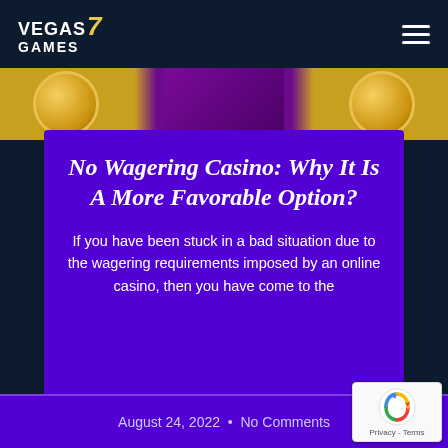VEGAS 7 GAMES
[Figure (photo): Decorative photo strip showing gold coins and purple background]
No Wagering Casino: Why It Is A More Favorable Option?
If you have been stuck in a bad situation due to the wagering requirements imposed by an online casino, then you have come to the
August 24, 2022 • No Comments